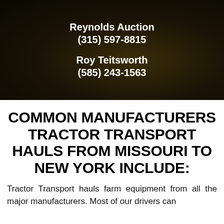[Figure (photo): Dark background image (very dark olive/black tones) with text overlay showing Reynolds Auction and Roy Teitsworth contact details in white bold text]
Reynolds Auction
(315) 597-8815

Roy Teitsworth
(585) 243-1563
COMMON MANUFACTURERS TRACTOR TRANSPORT HAULS FROM MISSOURI TO NEW YORK INCLUDE:
Tractor Transport hauls farm equipment from all the major manufacturers. Most of our drivers can